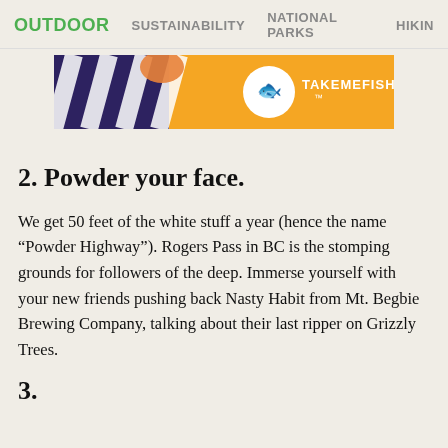OUTDOOR  SUSTAINABILITY  NATIONAL PARKS  HIKING
[Figure (screenshot): Advertisement banner for TakeMeFishing with orange background and striped pattern on the left side, fish logo and TAKEMEFISHING brand text on the right.]
2. Powder your face.
We get 50 feet of the white stuff a year (hence the name “Powder Highway”). Rogers Pass in BC is the stomping grounds for followers of the deep. Immerse yourself with your new friends pushing back Nasty Habit from Mt. Begbie Brewing Company, talking about their last ripper on Grizzly Trees.